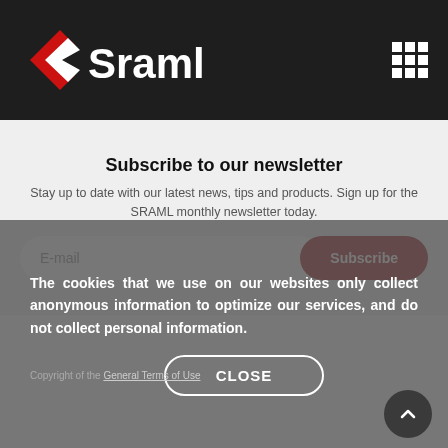[Figure (logo): SRAML logo with red diamond/house shape and white text on dark background]
Subscribe to our newsletter
Stay up to date with our latest news, tips and products. Sign up for the SRAML monthly newsletter today.
E-mail [input field] Subscribe [button]
The cookies that we use on our websites only collect anonymous information to optimize our services, and do not collect personal information.
CLOSE